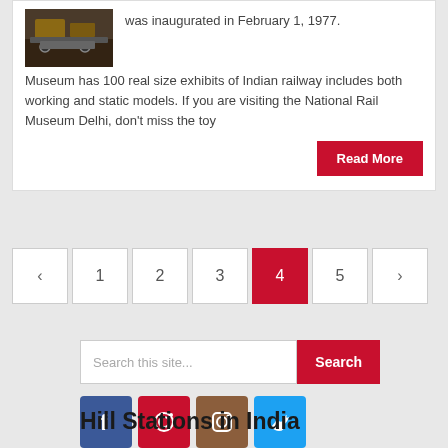[Figure (photo): Small thumbnail photo of a railway museum exhibit]
was inaugurated in February 1, 1977. Museum has 100 real size exhibits of Indian railway includes both working and static models. If you are visiting the National Rail Museum Delhi, don't miss the toy
Read More
< 1 2 3 4 5 >
Search this site...
Search
[Figure (illustration): Social media icons: Facebook, Pinterest, Instagram, Twitter]
Hill Stations in India